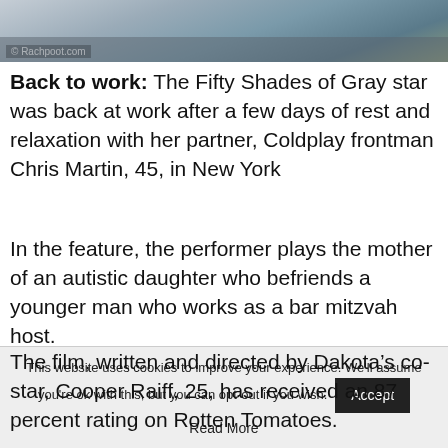[Figure (photo): Outdoor photo, partially visible at top of page, appears to show a person near a road or parking area. Watermark reads 'Rachpoot.com'.]
Back to work: The Fifty Shades of Gray star was back at work after a few days of rest and relaxation with her partner, Coldplay frontman Chris Martin, 45, in New York
In the feature, the performer plays the mother of an autistic daughter who befriends a younger man who works as a bar mitzvah host.
The film, written and directed by Dakota's co-star, Cooper Raiff, 25, has received an 87 percent rating on Rotten Tomatoes.
This website uses cookies to improve your experience. We'll assume you're ok with this, but you can opt-out if you wish. Accept
Read More